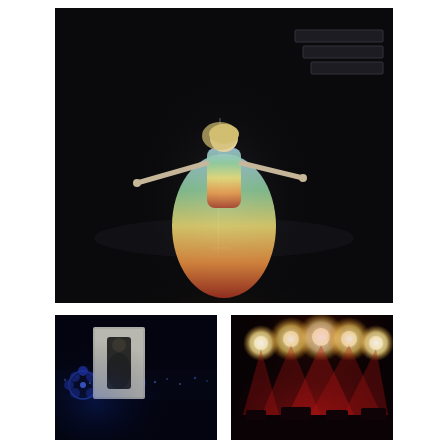[Figure (photo): Concert performance: a female performer in a flowing rainbow-gradient gown (yellow, blue, red ombre) stands center stage with arms outstretched, microphone stand beside her, against a dark stage with stepped platform structure visible at upper right]
[Figure (photo): Concert scene: dark venue with blue stage lights and decorative circular flower-like light structures, crowd visible in background, large screen projection of a performer visible]
[Figure (photo): Concert stage with dramatic red and warm lighting, multiple bright stage lights arranged symmetrically across top of frame, red light rays fanning downward, stage equipment silhouetted]